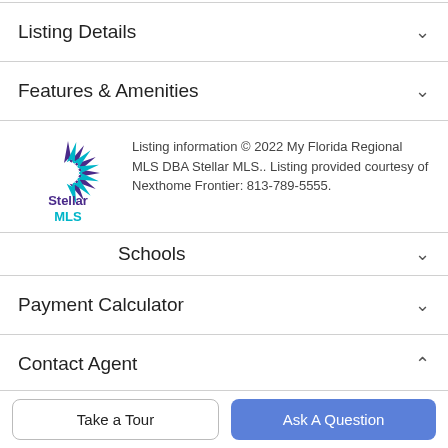Listing Details
Features & Amenities
[Figure (logo): Stellar MLS logo — star-burst shape in teal and purple, with text 'Stellar MLS' below]
Listing information © 2022 My Florida Regional MLS DBA Stellar MLS.. Listing provided courtesy of Nexthome Frontier: 813-789-5555.
Schools
Payment Calculator
Contact Agent
Take a Tour
Ask A Question